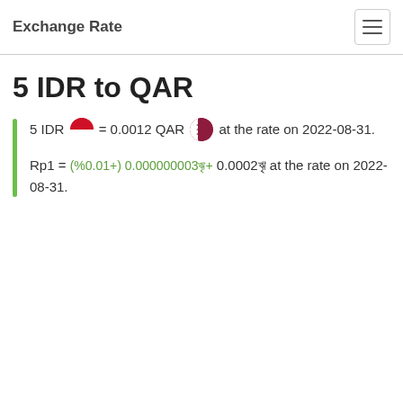Exchange Rate
5 IDR to QAR
5 IDR = 0.0012 QAR at the rate on 2022-08-31.
Rp1 = (%0.01+) 0.000000003ৠ+ 0.0002ৠ at the rate on 2022-08-31.